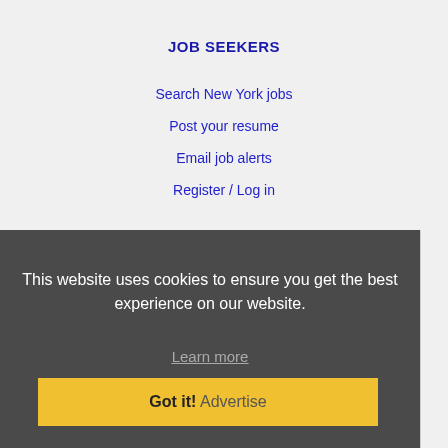JOB SEEKERS
Search New York jobs
Post your resume
Email job alerts
Register / Log in
EMPLOYERS
Post a job
Search resumes
Email resume alerts
Advertise
This website uses cookies to ensure you get the best experience on our website.
Learn more
Got it!